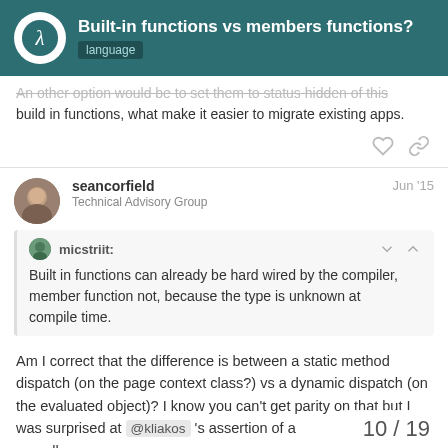Built-in functions vs members functions? language
An other option would be to set them to status hidden of this build in functions, what make it easier to migrate existing apps.
seancorfield Technical Advisory Group Jun '15
micstriit: Built in functions can already be hard wired by the compiler, member function not, because the type is unknown at compile time.
Am I correct that the difference is between a static method dispatch (on the page context class?) vs a dynamic dispatch (on the evaluated object)? I know you can't get parity on that but I was surprised at @kliakos 's assertion of a overall.
10 / 19